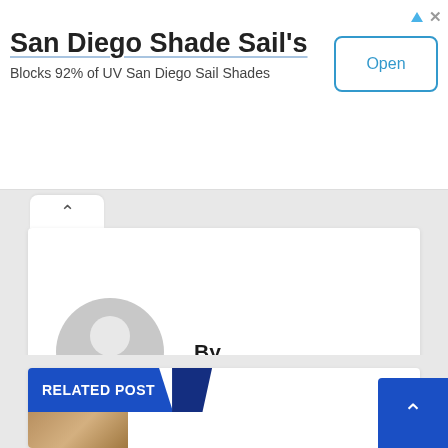[Figure (screenshot): Advertisement banner for San Diego Shade Sail's with Open button]
San Diego Shade Sail's
Blocks 92% of UV San Diego Sail Shades
[Figure (illustration): Author card with default avatar placeholder and 'By' label]
By
RELATED POST
[Figure (photo): Thumbnail image partially visible at bottom of related post section]